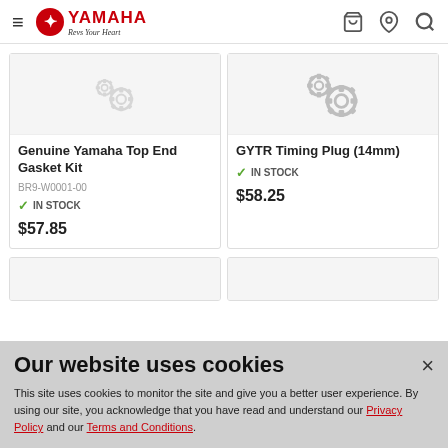Yamaha website header with navigation icons
[Figure (photo): Genuine Yamaha Top End Gasket Kit product image with gear icon placeholder]
Genuine Yamaha Top End Gasket Kit
BR9-W0001-00
IN STOCK
$57.85
[Figure (photo): GYTR Timing Plug (14mm) product image with gear icon placeholder]
GYTR Timing Plug (14mm)
IN STOCK
$58.25
Our website uses cookies
This site uses cookies to monitor the site and give you a better user experience. By using our site, you acknowledge that you have read and understand our Privacy Policy and our Terms and Conditions.